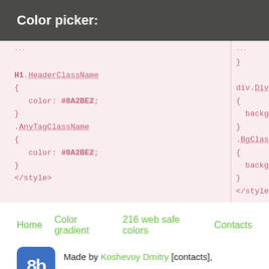Color picker:
[Figure (screenshot): Two-column code block showing CSS code snippets with H1.HeaderClassName, .AnyTagClassName, color: #8A2BE2, div.DivClass, .BgClassName, background rules, and </style> tags on pink background]
Home
Color gradient
216 web safe colors
Contacts
Made by Koshevoy Dmitry [contacts],
© 2014-2021 Ukraine, Mykolayiv.